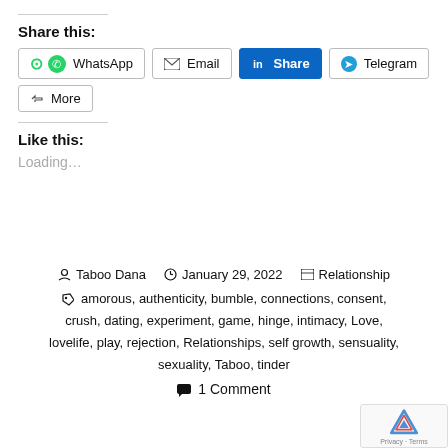Share this:
[Figure (screenshot): Social share buttons: WhatsApp, Email, LinkedIn Share (highlighted in blue), Telegram, More]
Like this:
Loading...
Taboo Dana  January 29, 2022  Relationship  amorous, authenticity, bumble, connections, consent, crush, dating, experiment, game, hinge, intimacy, Love, lovelife, play, rejection, Relationships, self growth, sensuality, sexuality, Taboo, tinder  1 Comment